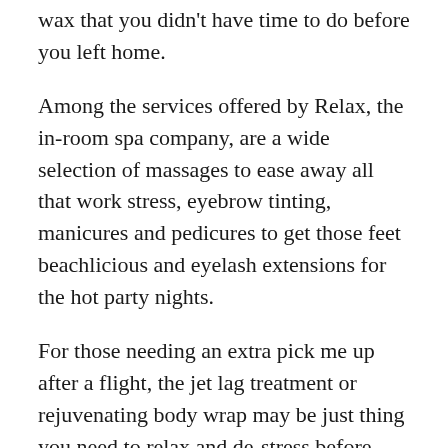wax that you didn't have time to do before you left home.
Among the services offered by Relax, the in-room spa company, are a wide selection of massages to ease away all that work stress, eyebrow tinting, manicures and pedicures to get those feet beachlicious and eyelash extensions for the hot party nights.
For those needing an extra pick me up after a flight, the jet lag treatment or rejuvenating body wrap may be just thing you need to relax and de-stress before starting the holiday.
Relax's many facial treatments are also ideal for easing those lines away.
And if you've forgotten something or want to look